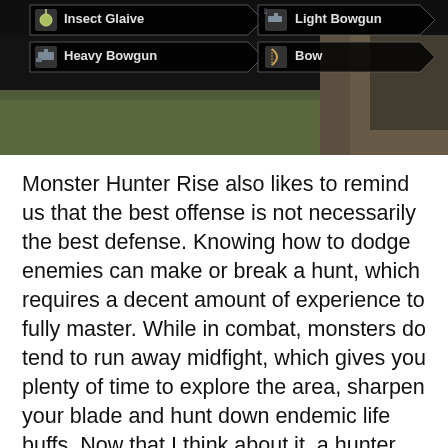[Figure (screenshot): Game screenshot from Monster Hunter Rise showing weapon selection UI overlaid on a game scene. Menu items show: Insect Glaive, Light Bowgun, Heavy Bowgun, Bow — each in a dark banner with arrow-shaped ends and weapon icons.]
Monster Hunter Rise also likes to remind us that the best offense is not necessarily the best defense. Knowing how to dodge enemies can make or break a hunt, which requires a decent amount of experience to fully master. While in combat, monsters do tend to run away midfight, which gives you plenty of time to explore the area, sharpen your blade and hunt down endemic life buffs. Now that I think about it, a hunter wearing their mother's carcass, flying around the terrain with bugs that shoot out wires and a pointy stick to attack them would explain why they're so afraid.